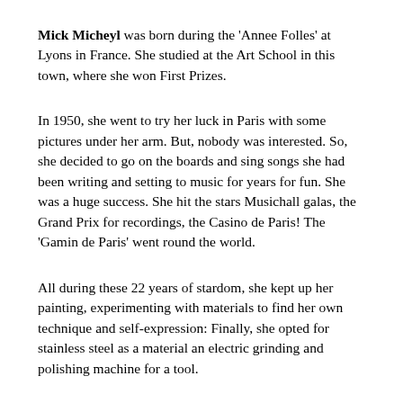Mick Micheyl was born during the 'Annee Folles' at Lyons in France. She studied at the Art School in this town, where she won First Prizes.
In 1950, she went to try her luck in Paris with some pictures under her arm. But, nobody was interested. So, she decided to go on the boards and sing songs she had been writing and setting to music for years for fun. She was a huge success. She hit the stars Musichall galas, the Grand Prix for recordings, the Casino de Paris! The 'Gamin de Paris' went round the world.
All during these 22 years of stardom, she kept up her painting, experimenting with materials to find her own technique and self-expression: Finally, she opted for stainless steel as a material an electric grinding and polishing machine for a tool.
1973 saw her ready for her first exhibition. To everybody's surprise, she stopped all her tours and T.V. shows and gave herself up entirely to her vocation for the graphic arts. 'I draw with light. I try to express life and movement. The movement of a man running or the movement in time of a